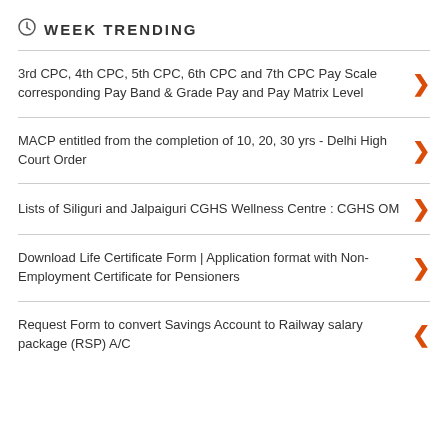WEEK TRENDING
3rd CPC, 4th CPC, 5th CPC, 6th CPC and 7th CPC Pay Scale corresponding Pay Band & Grade Pay and Pay Matrix Level
MACP entitled from the completion of 10, 20, 30 yrs - Delhi High Court Order
Lists of Siliguri and Jalpaiguri CGHS Wellness Centre : CGHS OM
Download Life Certificate Form | Application format with Non-Employment Certificate for Pensioners
Request Form to convert Savings Account to Railway salary package (RSP) A/C